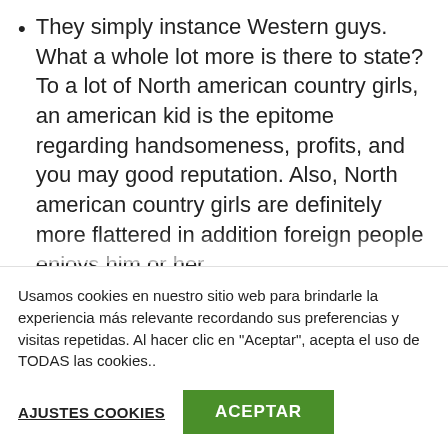They simply instance Western guys. What a whole lot more is there to state? To a lot of North american country girls, an american kid is the epitome regarding handsomeness, profits, and you may good reputation. Also, North american country girls are definitely more flattered in addition foreign people enjoys him or her.
They try to generate a far greater existence on their own. The economical and you may personal
Usamos cookies en nuestro sitio web para brindarle la experiencia más relevante recordando sus preferencias y visitas repetidas. Al hacer clic en "Aceptar", acepta el uso de TODAS las cookies..
AJUSTES COOKIES
ACEPTAR